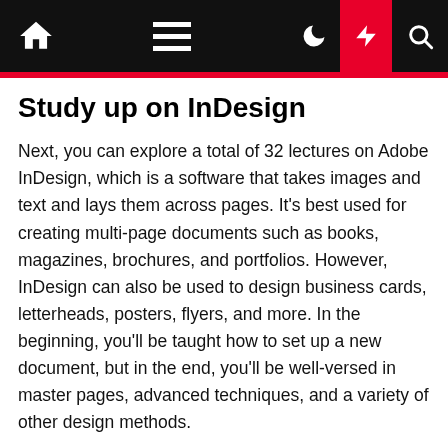Navigation bar with home, menu, moon, lightning, and search icons
Study up on InDesign
Next, you can explore a total of 32 lectures on Adobe InDesign, which is a software that takes images and text and lays them across pages. It's best used for creating multi-page documents such as books, magazines, brochures, and portfolios. However, InDesign can also be used to design business cards, letterheads, posters, flyers, and more. In the beginning, you'll be taught how to set up a new document, but in the end, you'll be well-versed in master pages, advanced techniques, and a variety of other design methods.
Finish with Adobe Spark
Last, but not least, there's an entire course on Adobe